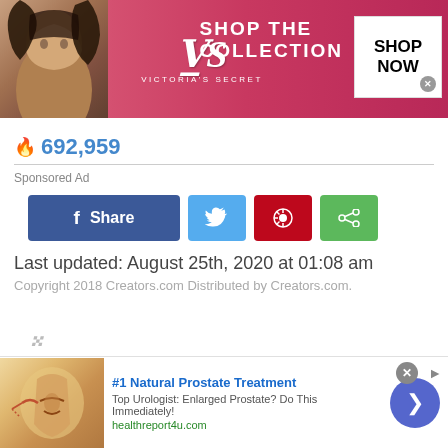[Figure (photo): Victoria's Secret advertisement banner with a woman model on the left, VS logo in the center, 'SHOP THE COLLECTION' text, and a 'SHOP NOW' button on the right, pink/red gradient background]
692,959
Sponsored Ad
[Figure (infographic): Social share buttons: Facebook Share (blue), Twitter (light blue), Pinterest (red), Share (green)]
Last updated: August 25th, 2020 at 01:08 am
Copyright 2018 Creators.com Distributed by Creators.com.
[Figure (logo): Creators.com stylized italic g logo in gray]
RECENT STORIES
[Figure (photo): Advertisement: #1 Natural Prostate Treatment - Top Urologist: Enlarged Prostate? Do This Immediately! healthreport4u.com - with medical illustration and navigation arrow]